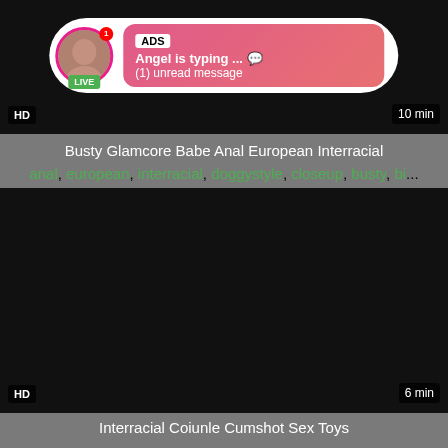[Figure (screenshot): Video thumbnail (dark/black) with HD badge bottom-left and 10 min duration bottom-right, and an ad overlay showing avatar with LIVE badge, ADS label, 'Angel is typing ... 💬' and '(1) unread message']
Busty Glamcore Babe Anal European Interracial
anal, european, interracial, doggystyle, closeup, busty, bi...
[Figure (screenshot): Dark/black video thumbnail with HD badge bottom-left and 6 min duration bottom-right]
Interracial Coiunle Cumshot Sex Toys